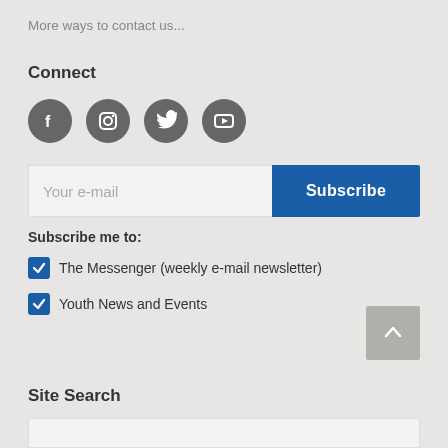More ways to contact us...
Connect
[Figure (other): Social media icons: Facebook, Instagram, Twitter, YouTube]
Your e-mail
Subscribe
Subscribe me to:
The Messenger (weekly e-mail newsletter)
Youth News and Events
Site Search